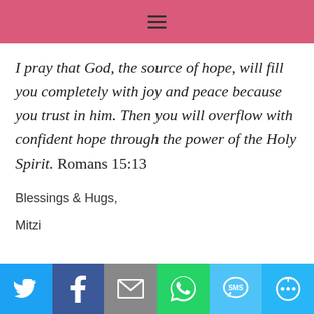≡
I pray that God, the source of hope, will fill you completely with joy and peace because you trust in him. Then you will overflow with confident hope through the power of the Holy Spirit. Romans 15:13
Blessings & Hugs,
Mitzi
[Figure (infographic): Social share bar with Twitter, Facebook, Email, WhatsApp, SMS, and More buttons]